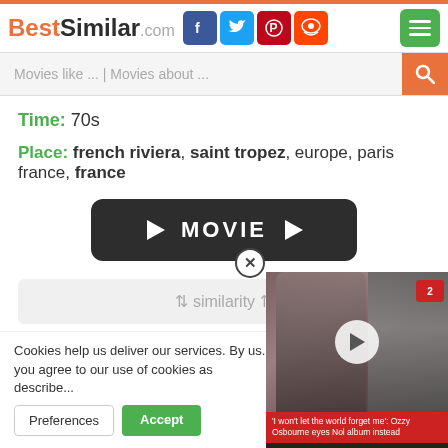BestSimilar.com
Movies like ... | Movies about ...
Time: 70s
Place: french riviera, saint tropez, europe, paris france, france
[Figure (other): Dark rounded button with play arrows and MOVIE text]
⇅ similarity ⇅
Yes 👍
No 👎
33
Cookies help us deliver our services. By us... you agree to our use of cookies as describe...
Preferences
Accept
[Figure (photo): Video overlay showing person with dark hair and sunglasses, with play button and caption about Ozzy Osbourne]